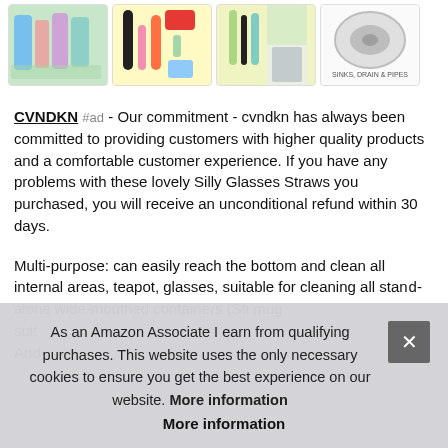[Figure (photo): Four product thumbnail images in a horizontal strip showing various items including glasses/straws, makeup/beauty products, cleaning supplies, and sinks/drains/pipes.]
CVNDKN #ad - Our commitment - cvndkn has always been committed to providing customers with higher quality products and a comfortable customer experience. If you have any problems with these lovely Silly Glasses Straws you purchased, you will receive an unconditional refund within 30 days.
Multi-purpose: can easily reach the bottom and clean all internal areas, teapot, glasses, suitable for cleaning all sta... mu... suit... And...
As an Amazon Associate I earn from qualifying purchases. This website uses the only necessary cookies to ensure you get the best experience on our website. More information
More information